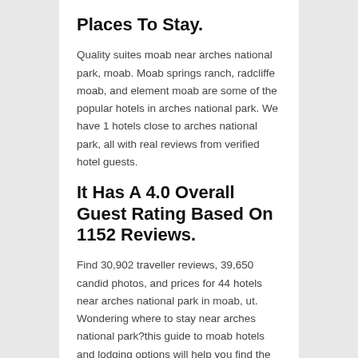Places To Stay.
Quality suites moab near arches national park, moab. Moab springs ranch, radcliffe moab, and element moab are some of the popular hotels in arches national park. We have 1 hotels close to arches national park, all with real reviews from verified hotel guests.
It Has A 4.0 Overall Guest Rating Based On 1152 Reviews.
Find 30,902 traveller reviews, 39,650 candid photos, and prices for 44 hotels near arches national park in moab, ut. Wondering where to stay near arches national park?this guide to moab hotels and lodging options will help you find the best accommodation for your stay. That lets you find the top rated hotels near moab for your visit and puts you close to the area's top restaurants